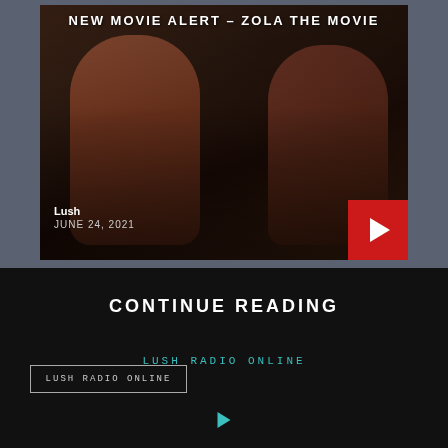[Figure (photo): Movie thumbnail showing two women back-to-back with dark warm background tones, overlaid with the title text 'NEW MOVIE ALERT – ZOLA THE MOVIE', author 'Lush', date 'JUNE 24, 2021', and a red play button in the bottom-right corner]
CONTINUE READING
LUSH RADIO ONLINE
LUSH RADIO ONLINE